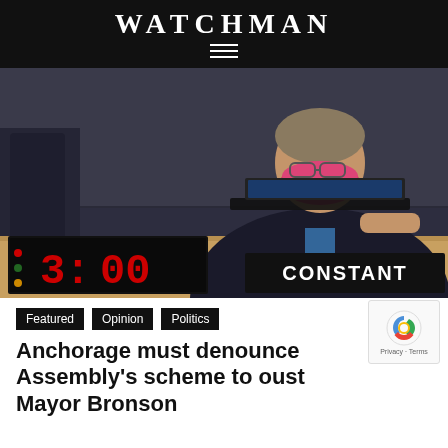WATCHMAN
[Figure (photo): A man wearing a pink/red face mask sitting at a council dais with a nameplate reading 'CONSTANT' and a digital timer showing 3:00 in red digits. He is wearing glasses and a dark suit, appearing to look at a laptop screen.]
Featured
Opinion
Politics
Anchorage must denounce Assembly's scheme to oust Mayor Bronson